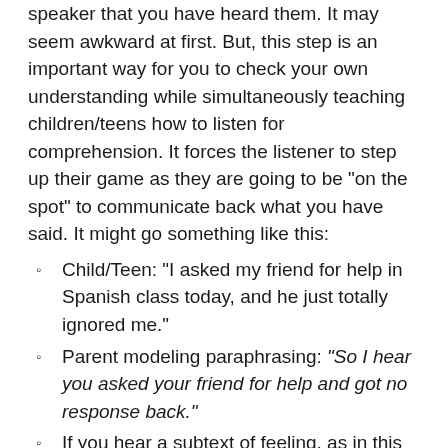speaker that you have heard them. It may seem awkward at first. But, this step is an important way for you to check your own understanding while simultaneously teaching children/teens how to listen for comprehension. It forces the listener to step up their game as they are going to be “on the spot” to communicate back what you have said. It might go something like this:
Child/Teen: “I asked my friend for help in Spanish class today, and he just totally ignored me.”
Parent modeling paraphrasing: “So I hear you asked your friend for help and got no response back.”
If you hear a subtext of feeling, as in this